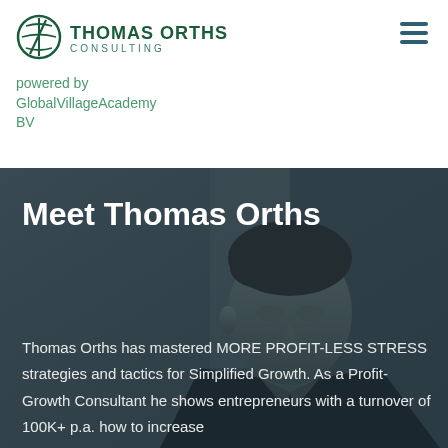[Figure (logo): Thomas Orths Consulting logo with circular green icon and uppercase text]
powered by GlobalVillageAcademy BV
[Figure (other): Portrait photo of Thomas Orths, a man in dark clothing against a muted background, displayed in desaturated tones with dark overlay]
Meet Thomas Orths
Thomas Orths has mastered MORE PROFIT-LESS STRESS strategies and tactics for Simplified Growth. As a Profit-Growth Consultant he shows entrepreneurs with a turnover of 100K+ p.a. how to increase